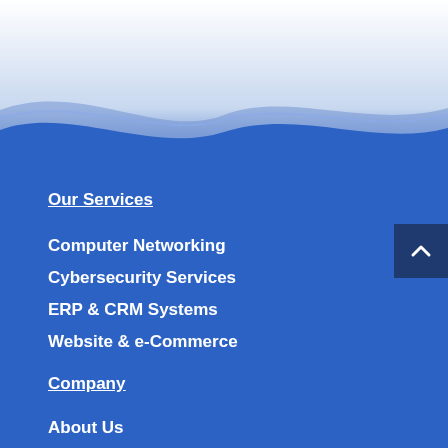[Figure (illustration): Wave-shaped decorative header graphic with light blue and white gradient fading into dark blue background]
Our Services
Computer Networking
Cybersecurity Services
ERP & CRM Systems
Website & e-Commerce
Company
About Us